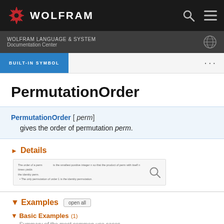WOLFRAM
WOLFRAM LANGUAGE & SYSTEM Documentation Center
BUILT-IN SYMBOL
PermutationOrder
PermutationOrder [ perm ] gives the order of permutation perm.
Details
[Figure (screenshot): Thumbnail showing text about the order of a permutation and a magnifying glass icon.]
Examples
Basic Examples (1)
Summary of the most common use cases
Find the order of a permutation: